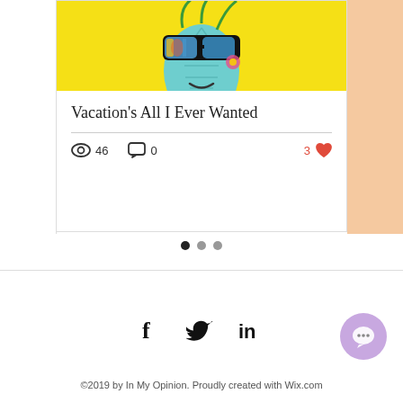[Figure (illustration): Blog post card with a pineapple wearing sunglasses illustration on yellow background]
Vacation's All I Ever Wanted
46 views · 0 comments · 3 likes
[Figure (other): Carousel pagination dots: first dot filled/active, two gray dots]
[Figure (other): Social media icons: Facebook, Twitter, LinkedIn]
[Figure (other): Purple circular chat button]
©2019 by In My Opinion. Proudly created with Wix.com